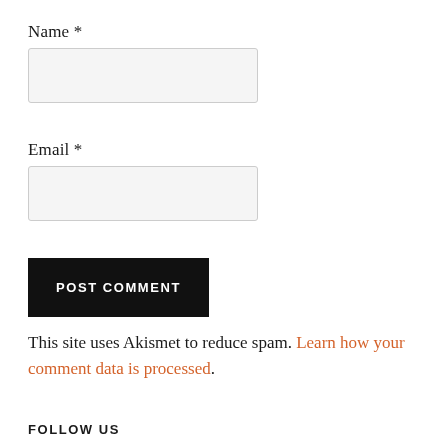Name *
[Name input field]
Email *
[Email input field]
POST COMMENT
This site uses Akismet to reduce spam. Learn how your comment data is processed.
FOLLOW US